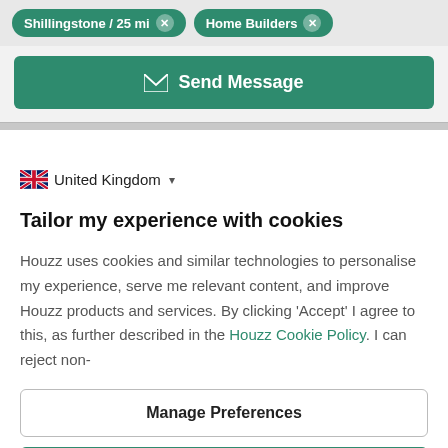Shillingstone / 25 mi × Home Builders ×
Send Message
United Kingdom ▾
Tailor my experience with cookies
Houzz uses cookies and similar technologies to personalise my experience, serve me relevant content, and improve Houzz products and services. By clicking 'Accept' I agree to this, as further described in the Houzz Cookie Policy. I can reject non-
Manage Preferences
Accept